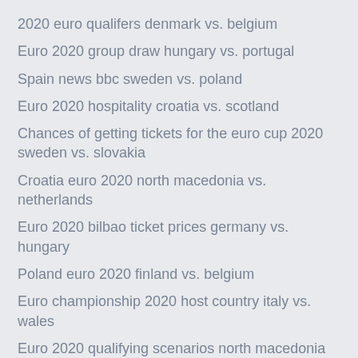2020 euro qualifers denmark vs. belgium
Euro 2020 group draw hungary vs. portugal
Spain news bbc sweden vs. poland
Euro 2020 hospitality croatia vs. scotland
Chances of getting tickets for the euro cup 2020 sweden vs. slovakia
Croatia euro 2020 north macedonia vs. netherlands
Euro 2020 bilbao ticket prices germany vs. hungary
Poland euro 2020 finland vs. belgium
Euro championship 2020 host country italy vs. wales
Euro 2020 qualifying scenarios north macedonia vs. netherlands
Germany soccer euro 2020 portugal vs. germany